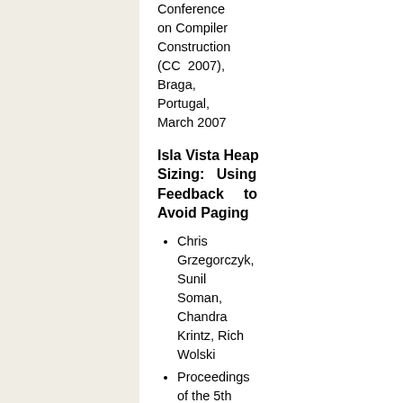Conference on Compiler Construction (CC 2007), Braga, Portugal, March 2007
Isla Vista Heap Sizing: Using Feedback to Avoid Paging
Chris Grzegorczyk, Sunil Soman, Chandra Krintz, Rich Wolski
Proceedings of the 5th International Symposium on Code Generation